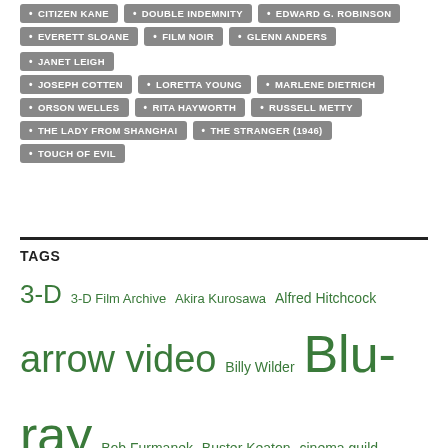CITIZEN KANE
DOUBLE INDEMNITY
EDWARD G. ROBINSON
EVERETT SLOANE
FILM NOIR
GLENN ANDERS
JANET LEIGH
JOSEPH COTTEN
LORETTA YOUNG
MARLENE DIETRICH
ORSON WELLES
RITA HAYWORTH
RUSSELL METTY
THE LADY FROM SHANGHAI
THE STRANGER (1946)
TOUCH OF EVIL
TAGS
3-D  3-D Film Archive  Akira Kurosawa  Alfred Hitchcock  arrow video  Billy Wilder  Blu-ray  Bob Furmanek  Buster Keaton  cinema guild  Cinerama  Columbia Pictures  Criterion  Criterion Collection  documentary  Don Siegel  DVD  Elvis Presley  film noir  Flicker Alley  Fritz Lang  George Lucas  Greg Kintz  Harry Cohn  Humphrey